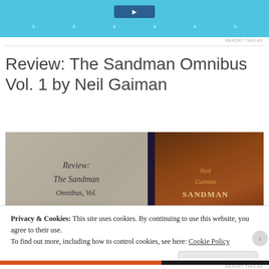[Figure (screenshot): Advertisement banner with cyan/blue background and a dark blue button, plus decorative plus signs]
REPORT THIS AD
Review: The Sandman Omnibus Vol. 1 by Neil Gaiman
[Figure (photo): Photo of The Sandman Omnibus Vol. 1 book by Neil Gaiman, with a sepia-toned overlay on the left showing handwritten-style title text, and the actual book cover visible on the right]
Privacy & Cookies: This site uses cookies. By continuing to use this website, you agree to their use.
To find out more, including how to control cookies, see here: Cookie Policy
Close and accept